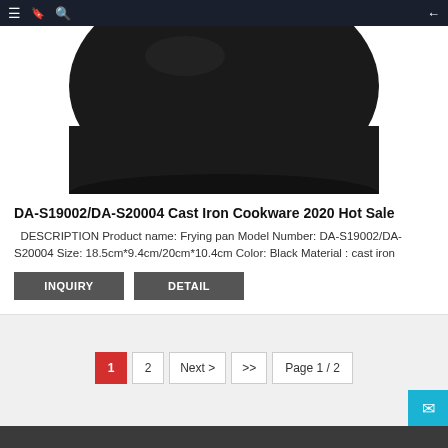Navigation bar with menu, bookmark, search icons and back arrow
[Figure (photo): Bottom portion of a black cast iron frying pan/pot viewed from above, showing the rounded dark matte exterior against a white background]
DA-S19002/DA-S20004 Cast Iron Cookware 2020 Hot Sale
DESCRIPTION Product name: Frying pan Model Number: DA-S19002/DA-S20004 Size: 18.5cm*9.4cm/20cm*10.4cm Color: Black Material : cast iron
INQUIRY
DETAIL
1   2   Next >   >>   Page 1 / 2